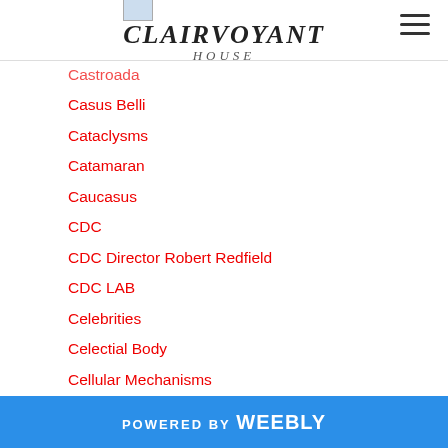CLAIRVOYANT HOUSE
Castroada
Casus Belli
Cataclysms
Catamaran
Caucasus
CDC
CDC Director Robert Redfield
CDC LAB
Celebrities
Celectial Body
Cellular Mechanisms
Center For Disease And Control ( CDC )
Center For Disease Control And Prevention (CDC)
Centers For Disease Control And Prevention
Central Epidemic Command Centre
POWERED BY weebly